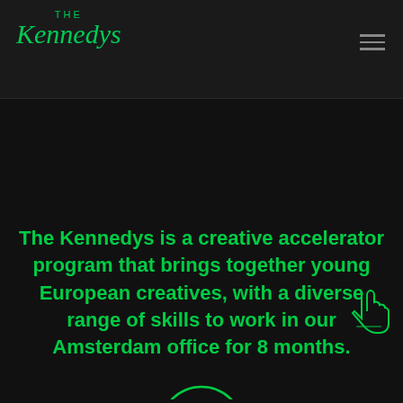THE Kennedys
The Kennedys is a creative accelerator program that brings together young European creatives, with a diverse range of skills to work in our Amsterdam office for 8 months.
[Figure (illustration): Partial green circle at the bottom of the page, partially visible]